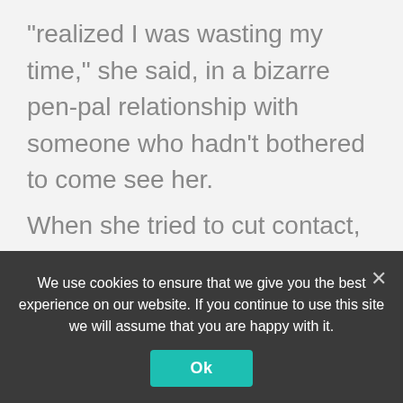“realized I was wasting my time,” she said, in a bizarre pen-pal relationship with someone who hadn’t bothered to come see her.
When she tried to cut contact, Belandres escalated, she said, contacting her hundreds of times from spoofed numbers; he apparently used an app or a website to generate numbers that looked like they were from the UK. (Belandres denies doing this.)
“It’s been amazing and so transformative to find community and support with all these other victims. But what I really want is for him to not be able to do this
We use cookies to ensure that we give you the best experience on our website. If you continue to use this site we will assume that you are happy with it.